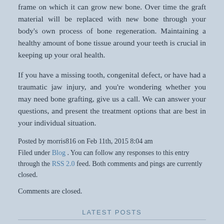frame on which it can grow new bone. Over time the graft material will be replaced with new bone through your body's own process of bone regeneration. Maintaining a healthy amount of bone tissue around your teeth is crucial in keeping up your oral health.
If you have a missing tooth, congenital defect, or have had a traumatic jaw injury, and you're wondering whether you may need bone grafting, give us a call. We can answer your questions, and present the treatment options that are best in your individual situation.
Posted by morris816 on Feb 11th, 2015 8:04 am
Filed under Blog . You can follow any responses to this entry through the RSS 2.0 feed. Both comments and pings are currently closed.
Comments are closed.
LATEST POSTS
Oral Health: Get Your Oral Cancer Screening